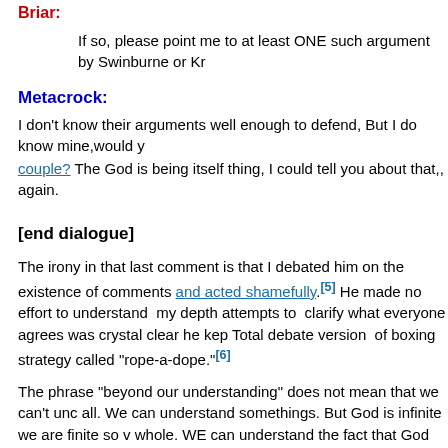Briar:
If so, please point me to at least ONE such argument by Swinburne or Kr
Metacrock:
I don't know their arguments well enough to defend, But I do know mine,would you read a couple? The God is being itself thing, I could tell you about that,, again.
[end dialogue]
The irony in that last comment is that I debated him on the existence of comments and acted shamefully.[5] He made no effort to understand my depth attempts to clarify what everyone agrees was crystal clear he kept. Total debate version of boxing strategy called "rope-a-dope."[6]
The phrase "beyond our understanding" does not mean that we can't understand at all. We can understand somethings. But God is infinite we are finite so we understand whole. WE can understand the fact that God loves us,we not understand fact, We can experience God's love in our hearts, that is all we need to universe loves me what else do I need to know?
We have a gap in knowledge where the mass of what we don't know...